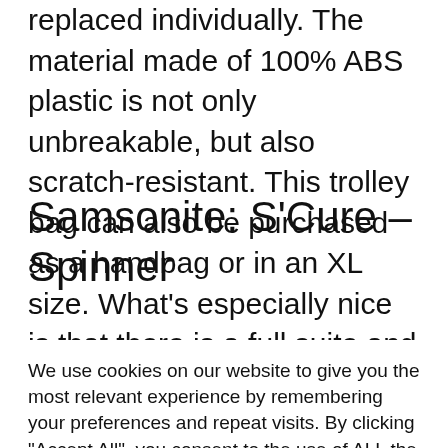replaced individually. The material made of 100% ABS plastic is not only unbreakable, but also scratch-resistant. This trolley bag can also be purchased as a handbag or in an XL size. What's especially nice is that there is a full suite and that you are fully equipped for every ride.
Samsonite: S'Cure – Spinner
We use cookies on our website to give you the most relevant experience by remembering your preferences and repeat visits. By clicking "Accept All", you consent to the use of ALL the cookies. However, you may visit "Cookie Settings" to provide a controlled consent.